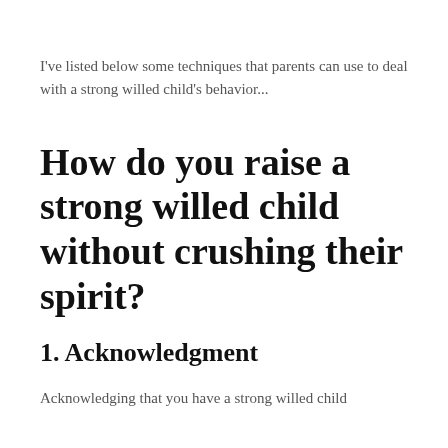I've listed below some techniques that parents can use to deal with a strong willed child's behavior...
How do you raise a strong willed child without crushing their spirit?
1. Acknowledgment
Acknowledging that you have a strong willed child